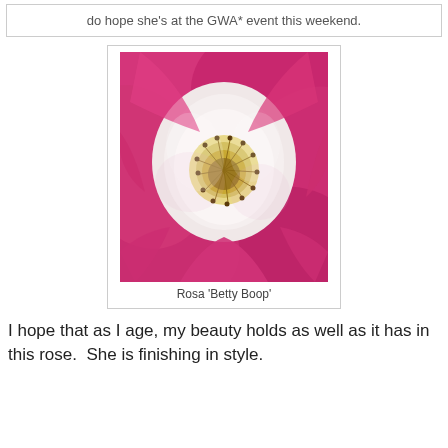do hope she's at the GWA* event this weekend.
[Figure (photo): Close-up photograph of a Rosa 'Betty Boop' rose flower with pink-edged petals and a white/cream center with yellow and brown stamens.]
Rosa 'Betty Boop'
I hope that as I age, my beauty holds as well as it has in this rose.  She is finishing in style.